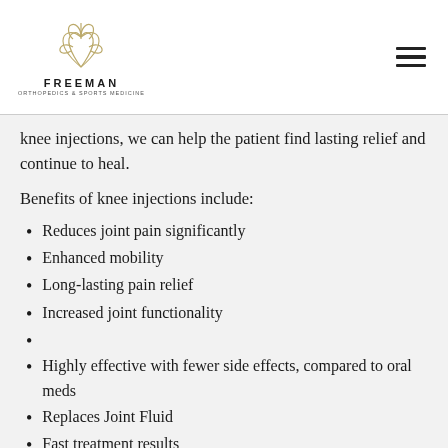FREEMAN ORTHOPEDICS & SPORTS MEDICINE
knee injections, we can help the patient find lasting relief and continue to heal.
Benefits of knee injections include:
Reduces joint pain significantly
Enhanced mobility
Long-lasting pain relief
Increased joint functionality
Highly effective with fewer side effects, compared to oral meds
Replaces Joint Fluid
Fast treatment results
Since each patient is unique, there is no one-size-fits-all treatment for knee pain. Thus, we will need to examine each patient and